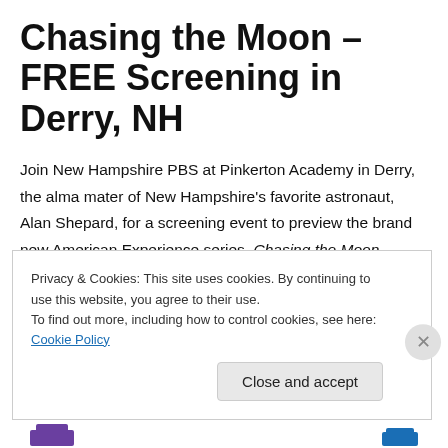Chasing the Moon – FREE Screening in Derry, NH
Join New Hampshire PBS at Pinkerton Academy in Derry, the alma mater of New Hampshire's favorite astronaut, Alan Shepard, for a screening event to preview the brand new American Experience series, Chasing the Moon. Commemorating the 50th anniversary of the moon landing, this special film will take you on a journey through the history of the space race.
Privacy & Cookies: This site uses cookies. By continuing to use this website, you agree to their use. To find out more, including how to control cookies, see here: Cookie Policy
Close and accept